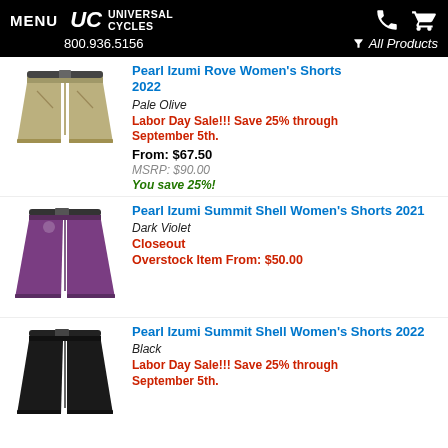MENU UC UNIVERSAL CYCLES 800.936.5156 All Products
[Figure (photo): Pearl Izumi Rove Women's Shorts 2022 in Pale Olive color - khaki/tan cycling shorts with belt]
Pearl Izumi Rove Women's Shorts 2022
Pale Olive
Labor Day Sale!!! Save 25% through September 5th.
From: $67.50
MSRP: $90.00
You save 25%!
[Figure (photo): Pearl Izumi Summit Shell Women's Shorts 2021 in Dark Violet color - purple cycling shorts with belt]
Pearl Izumi Summit Shell Women's Shorts 2021
Dark Violet
Closeout
Overstock Item From: $50.00
[Figure (photo): Pearl Izumi Summit Shell Women's Shorts 2022 in Black color - black cycling shorts with belt]
Pearl Izumi Summit Shell Women's Shorts 2022
Black
Labor Day Sale!!! Save 25% through September 5th.